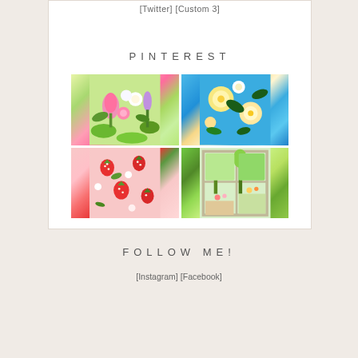[Twitter] [Custom 3]
PINTEREST
[Figure (photo): 2x2 grid of Pinterest images: top-left colorful flower garden, top-right blue floral pattern, bottom-left strawberry pattern on pink, bottom-right garden/greenhouse view]
FOLLOW ME!
[Instagram] [Facebook]